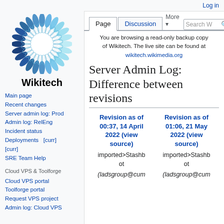Log in
[Figure (logo): Wikitech sunflower logo with blue petals and white center, with 'Wikitech' text below]
Main page
Recent changes
Server admin log: Prod
Admin log: RelEng
Incident status
Deployments   [curr] [curr]
SRE Team Help
Cloud VPS & Toolforge
Cloud VPS portal
Toolforge portal
Request VPS project
Admin log: Cloud VPS
You are browsing a read-only backup copy of Wikitech. The live site can be found at wikitech.wikimedia.org
Server Admin Log: Difference between revisions
| Revision as of 00:37, 14 April 2022 (view source) | Revision as of 01:06, 21 May 2022 (view source) |
| --- | --- |
| imported>Stashbot | imported>Stashbot |
| (ladsgroup@cum | (ladsgroup@cum |